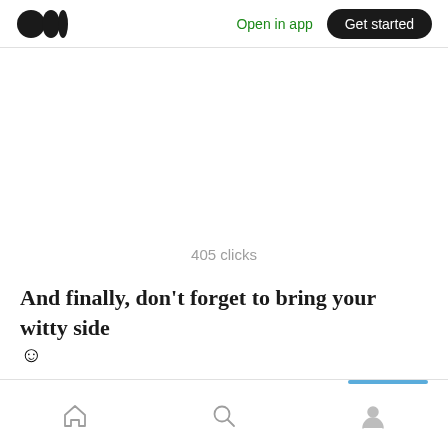Open in app  Get started
405 clicks
And finally, don't forget to bring your witty side ☺
Home  Search  Profile